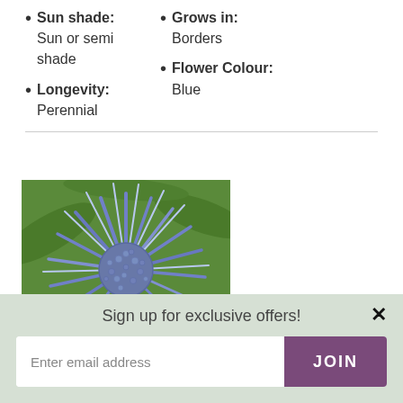Sun shade: Sun or semi shade
Grows in: Borders
Flower Colour: Blue
Longevity: Perennial
[Figure (photo): Close-up photograph of a blue Eryngium (sea holly) flower with spiky bracts and a domed centre, set against green foliage background.]
Sign up for exclusive offers!
Enter email address
JOIN